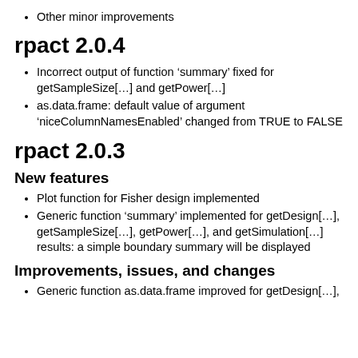Other minor improvements
rpact 2.0.4
Incorrect output of function ‘summary’ fixed for getSampleSize[…] and getPower[…]
as.data.frame: default value of argument ‘niceColumnNamesEnabled’ changed from TRUE to FALSE
rpact 2.0.3
New features
Plot function for Fisher design implemented
Generic function ‘summary’ implemented for getDesign[…], getSampleSize[…], getPower[…], and getSimulation[…] results: a simple boundary summary will be displayed
Improvements, issues, and changes
Generic function as.data.frame improved for getDesign[…],